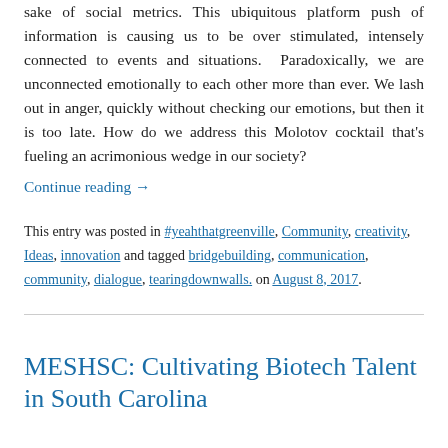sake of social metrics. This ubiquitous platform push of information is causing us to be over stimulated, intensely connected to events and situations.  Paradoxically, we are unconnected emotionally to each other more than ever. We lash out in anger, quickly without checking our emotions, but then it is too late. How do we address this Molotov cocktail that's fueling an acrimonious wedge in our society?
Continue reading →
This entry was posted in #yeahthatgreenville, Community, creativity, Ideas, innovation and tagged bridgebuilding, communication, community, dialogue, tearingdownwalls. on August 8, 2017.
MESHSC: Cultivating Biotech Talent in South Carolina